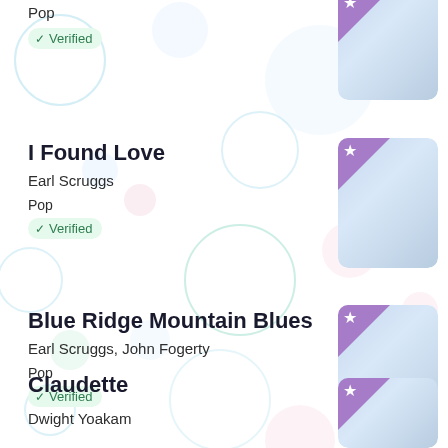Pop
✓ Verified
I Found Love
Earl Scruggs
Pop
✓ Verified
Blue Ridge Mountain Blues
Earl Scruggs, John Fogerty
Pop
✓ Verified
Claudette
Dwight Yoakam